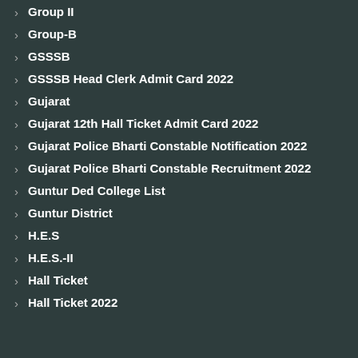Group II
Group-B
GSSSB
GSSSB Head Clerk Admit Card 2022
Gujarat
Gujarat 12th Hall Ticket Admit Card 2022
Gujarat Police Bharti Constable Notification 2022
Gujarat Police Bharti Constable Recruitment 2022
Guntur Ded College List
Guntur District
H.E.S
H.E.S.-II
Hall Ticket
Hall Ticket 2022